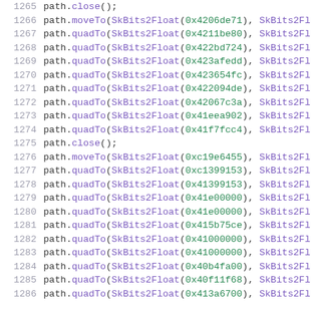1265    path.close();
1266    path.moveTo(SkBits2Float(0x4206de71), SkBits2Fl
1267    path.quadTo(SkBits2Float(0x4211be80), SkBits2Fl
1268    path.quadTo(SkBits2Float(0x422bd724), SkBits2Fl
1269    path.quadTo(SkBits2Float(0x423afedd), SkBits2Fl
1270    path.quadTo(SkBits2Float(0x423654fc), SkBits2Fl
1271    path.quadTo(SkBits2Float(0x422094de), SkBits2Fl
1272    path.quadTo(SkBits2Float(0x42067c3a), SkBits2Fl
1273    path.quadTo(SkBits2Float(0x41eea902), SkBits2Fl
1274    path.quadTo(SkBits2Float(0x41f7fcc4), SkBits2Fl
1275    path.close();
1276    path.moveTo(SkBits2Float(0xc19e6455), SkBits2Fl
1277    path.quadTo(SkBits2Float(0xc1399153), SkBits2Fl
1278    path.quadTo(SkBits2Float(0x41399153), SkBits2Fl
1279    path.quadTo(SkBits2Float(0x41e00000), SkBits2Fl
1280    path.quadTo(SkBits2Float(0x41e00000), SkBits2Fl
1281    path.quadTo(SkBits2Float(0x415b75ce), SkBits2Fl
1282    path.quadTo(SkBits2Float(0x41000000), SkBits2Fl
1283    path.quadTo(SkBits2Float(0x41000000), SkBits2Fl
1284    path.quadTo(SkBits2Float(0x40b4fa00), SkBits2Fl
1285    path.quadTo(SkBits2Float(0x40f11f68), SkBits2Fl
1286    path.quadTo(SkBits2Float(0x413a6700), SkBits2Fl